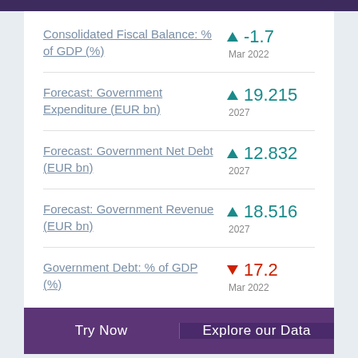Consolidated Fiscal Balance: % of GDP (%)
Forecast: Government Expenditure (EUR bn)
Forecast: Government Net Debt (EUR bn)
Forecast: Government Revenue (EUR bn)
Government Debt: % of GDP (%)
Try Now | Explore our Data